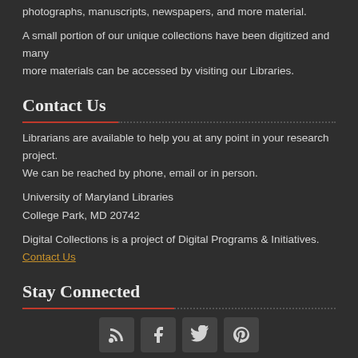photographs, manuscripts, newspapers, and more material.
A small portion of our unique collections have been digitized and many more materials can be accessed by visiting our Libraries.
Contact Us
Librarians are available to help you at any point in your research project. We can be reached by phone, email or in person.
University of Maryland Libraries
College Park, MD 20742
Digital Collections is a project of Digital Programs & Initiatives. Contact Us
Stay Connected
[Figure (infographic): Four social media icon buttons: RSS feed, Facebook, Twitter, Pinterest]